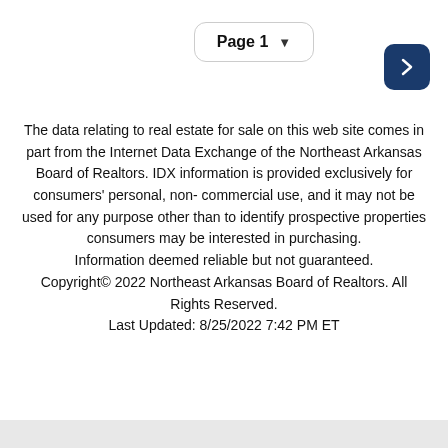Page 1
The data relating to real estate for sale on this web site comes in part from the Internet Data Exchange of the Northeast Arkansas Board of Realtors. IDX information is provided exclusively for consumers' personal, non-commercial use, and it may not be used for any purpose other than to identify prospective properties consumers may be interested in purchasing.
Information deemed reliable but not guaranteed.
Copyright© 2022 Northeast Arkansas Board of Realtors. All Rights Reserved.
Last Updated: 8/25/2022 7:42 PM ET